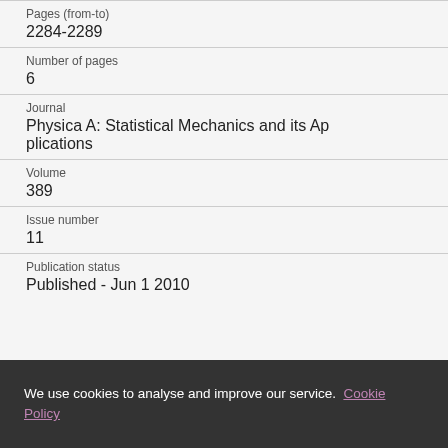Pages (from-to)
2284-2289
Number of pages
6
Journal
Physica A: Statistical Mechanics and its Applications
Volume
389
Issue number
11
Publication status
Published - Jun 1 2010
We use cookies to analyse and improve our service. Cookie Policy